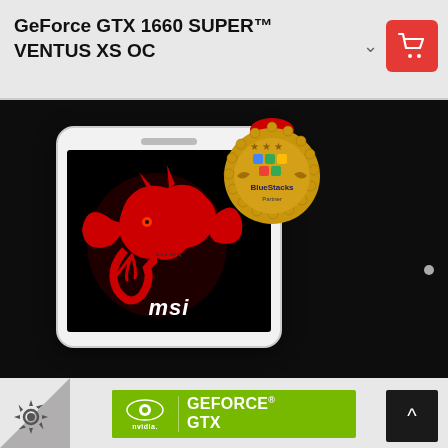GeForce GTX 1660 SUPER™ VENTUS XS OC
[Figure (screenshot): MSI product page screenshot showing a phone mockup with the MSI dragon logo on a black screen, alongside a BlueStacks gold badge award, on a dark background. Below the image are carousel pagination dots. At the bottom is the NVIDIA GeForce GTX logo banner in green, an HDMI logo, a back-to-top button, and a settings gear icon.]